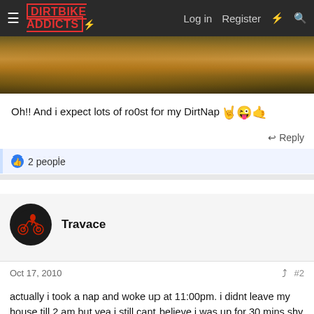DIRTBIKE ADDICTS — Log in  Register
[Figure (photo): Dirt trail outdoor landscape banner image]
Oh!! And i expect lots of ro0st for my DirtNap 😜
↩ Reply
👍 2 people
Travace
Oct 17, 2010
#2
actually i took a nap and woke up at 11:00pm. i didnt leave my house till 2 am but yea i still cant believe i was up for 30 mins shy of 24 hours ... i went to sleep at 10:30pm the next day 😉. when i got to your house i did feel a little sleepy till you gave me